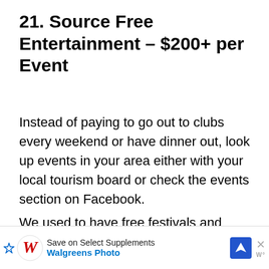21. Source Free Entertainment – $200+ per Event
Instead of paying to go out to clubs every weekend or have dinner out, look up events in your area either with your local tourism board or check the events section on Facebook.
We used to have free festivals and entertainment where we lived which saves us a fortune on entertainment. We also have hobbies such as exploring our city (usually walking between 10k and 40km any given weekend checking out our city an